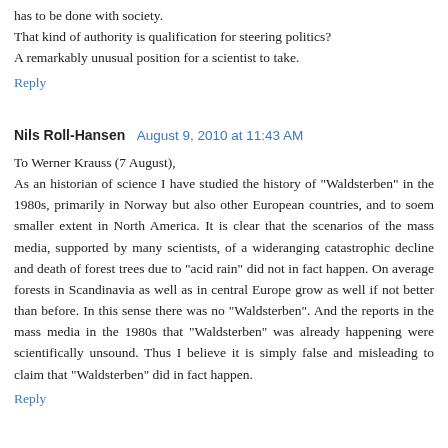has to be done with society. That kind of authority is qualification for steering politics? A remarkably unusual position for a scientist to take.
Reply
Nils Roll-Hansen  August 9, 2010 at 11:43 AM
To Werner Krauss (7 August), As an historian of science I have studied the history of "Waldsterben" in the 1980s, primarily in Norway but also other European countries, and to soem smaller extent in North America. It is clear that the scenarios of the mass media, supported by many scientists, of a wideranging catastrophic decline and death of forest trees due to "acid rain" did not in fact happen. On average forests in Scandinavia as well as in central Europe grow as well if not better than before. In this sense there was no "Waldsterben". And the reports in the mass media in the 1980s that "Waldsterben" was already happening were scientifically unsound. Thus I believe it is simply false and misleading to claim that "Waldsterben" did in fact happen.
Reply